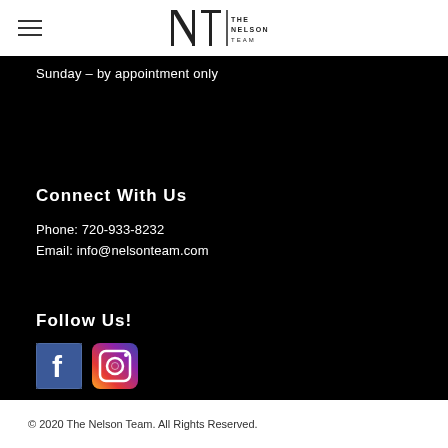The Nelson Team logo
Sunday – by appointment only
Connect With Us
Phone: 720-933-8232
Email: info@nelsonteam.com
Follow Us!
[Figure (logo): Facebook icon button]
[Figure (logo): Instagram icon button]
© 2020 The Nelson Team. All Rights Reserved.